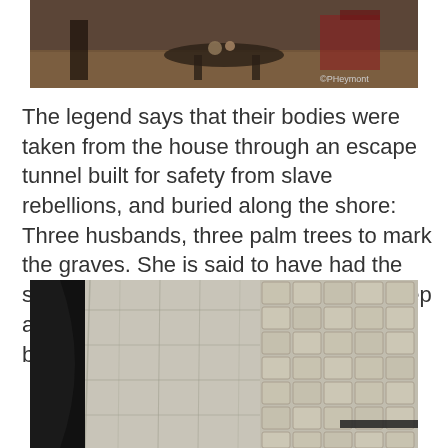[Figure (photo): Interior of an old house showing furniture, rugs, and decorative items on a table. Watermark reads ©PHeymont.]
The legend says that their bodies were taken from the house through an escape tunnel built for safety from slave rebellions, and buried along the shore: Three husbands, three palm trees to mark the graves. She is said to have had the slaves who buried them murdered to keep anyone from finding and examining the bodies.
[Figure (photo): Close-up view of stone masonry, showing a stone wall and cobblestone or tile floor, viewed from an angle through an opening, possibly an escape tunnel entrance.]